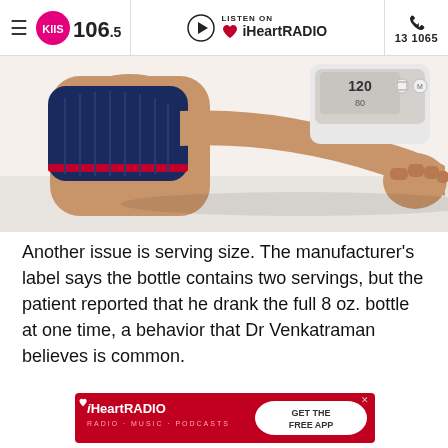KIIS 1065 | LISTEN ON iHeartRADIO | 13 1065
[Figure (photo): A person's arm with a blood pressure cuff on the upper arm, resting flat against a white surface. The electronic blood pressure monitor device is visible at top right.]
Another issue is serving size. The manufacturer's label says the bottle contains two servings, but the patient reported that he drank the full 8 oz. bottle at one time, a behavior that Dr Venkatraman believes is common.
[Figure (logo): iHeartRADIO advertisement banner with red background, iHeartRADIO logo on left and 'GET THE FREE APP' button on right]